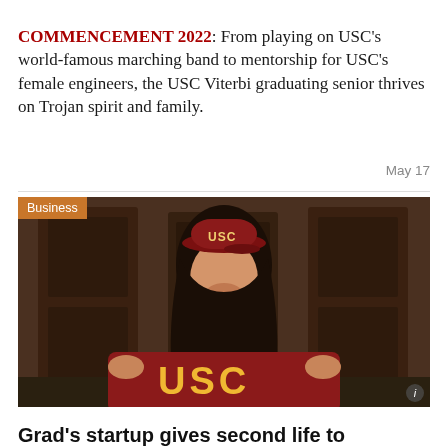COMMENCEMENT 2022: From playing on USC's world-famous marching band to mentorship for USC's female engineers, the USC Viterbi graduating senior thrives on Trojan spirit and family.
May 17
[Figure (photo): A female USC graduate wearing a maroon USC cap and holding up a maroon USC sweatshirt with gold lettering, smiling in front of large wooden doors. An orange 'Business' category tag appears in the top-left corner of the image.]
Grad's startup gives second life to